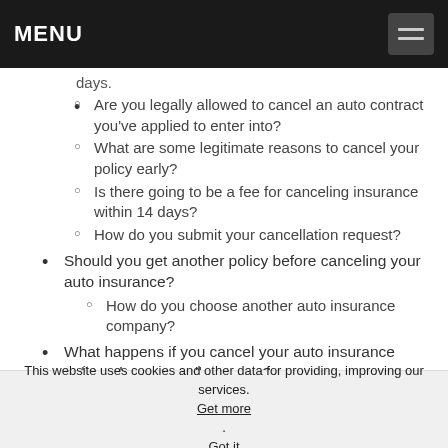MENU
days.
Are you legally allowed to cancel an auto contract you've applied to enter into?
What are some legitimate reasons to cancel your policy early?
Is there going to be a fee for canceling insurance within 14 days?
How do you submit your cancellation request?
Should you get another policy before canceling your auto insurance?
How do you choose another auto insurance company?
What happens if you cancel your auto insurance policy when you sell your car?
This website uses cookies and other data for providing, improving our services. Get more. Got it